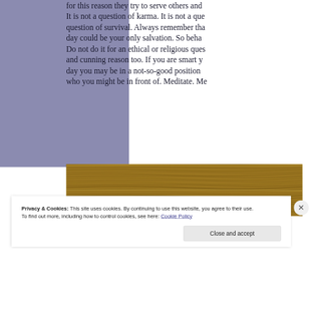for this reason they try to serve others and... It is not a question of karma. It is not a question of survival. Always remember that day could be your only salvation. So beha... Do not do it for an ethical or religious ques... and cunning reason too. If you are smart y... day you may be in a not-so-good position... who you might be in front of. Meditate. Me...
[Figure (photo): Close-up texture of wood grain with intricate patterns in golden-brown tones]
Privacy & Cookies: This site uses cookies. By continuing to use this website, you agree to their use.
To find out more, including how to control cookies, see here: Cookie Policy
Close and accept